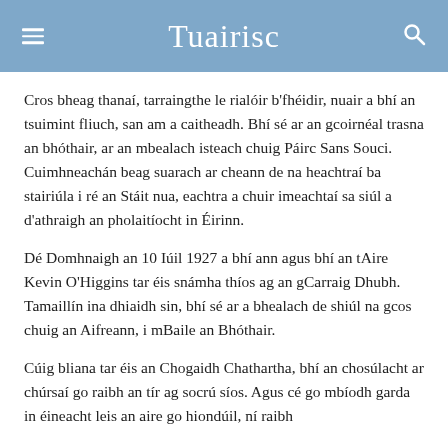Tuairisc
Cros bheag thanaí, tarraingthe le rialóir b'fhéidir, nuair a bhí an tsuimint fliuch, san am a caitheadh. Bhí sé ar an gcoirnéal trasna an bhóthair, ar an mbealach isteach chuig Páirc Sans Souci. Cuimhneachán beag suarach ar cheann de na heachtraí ba stairiúla i ré an Stáit nua, eachtra a chuir imeachtaí sa siúl a d'athraigh an pholaitíocht in Éirinn.
Dé Domhnaigh an 10 Iúil 1927 a bhí ann agus bhí an tAire Kevin O'Higgins tar éis snámha thíos ag an gCarraig Dhubh. Tamaillín ina dhiaidh sin, bhí sé ar a bhealach de shiúl na gcos chuig an Aifreann, i mBaile an Bhóthair.
Cúig bliana tar éis an Chogaidh Chathartha, bhí an chosúlacht ar chúrsaí go raibh an tír ag socrú síos. Agus cé go mbíodh garda in éineacht leis an aire go hiondúil, ní raibh